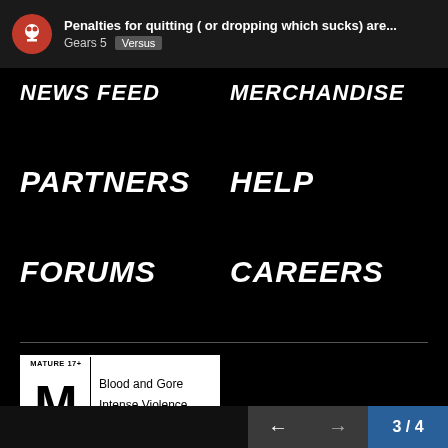Penalties for quitting ( or dropping which sucks) are... | Gears 5 | Versus
NEWS FEED
MERCHANDISE
PARTNERS
HELP
FORUMS
CAREERS
[Figure (logo): ESRB Mature 17+ rating box with M logo. Blood and Gore, Intense Violence, Strong Language]
[Figure (logo): The Coalition logo - circular segmented ring with THE COALITION text]
[Figure (logo): Xbox Game Studios logo with Xbox sphere icon]
← → 3 / 4